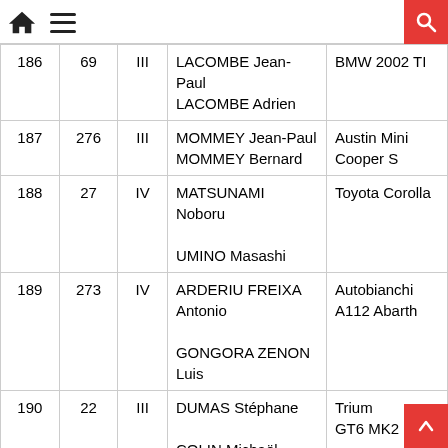Home | Menu | Search
| # | No | Cat | Drivers | Car |
| --- | --- | --- | --- | --- |
| 186 | 69 | III | LACOMBE Jean-Paul
LACOMBE Adrien | BMW 2002 TI |
| 187 | 276 | III | MOMMEY Jean-Paul
MOMMEY Bernard | Austin Mini Cooper S |
| 188 | 27 | IV | MATSUNAMI Noboru
UMINO Masashi | Toyota Corolla |
| 189 | 273 | IV | ARDERIU FREIXA Antonio
GONGORA ZENON Luis | Autobianchi A112 Abarth |
| 190 | 22 | III | DUMAS Stéphane
COLIN Michaël | Triumph GT6 MK2 |